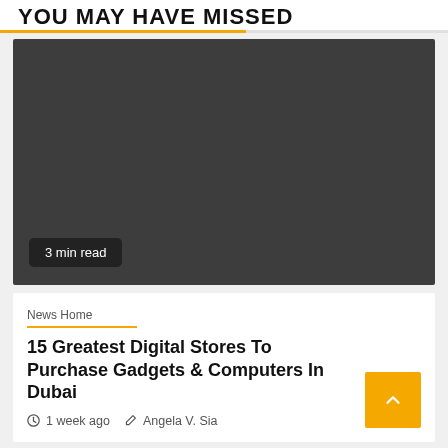YOU MAY HAVE MISSED
[Figure (photo): Dark gray placeholder image for article thumbnail]
3 min read
News Home
15 Greatest Digital Stores To Purchase Gadgets & Computers In Dubai
1 week ago  Angela V. Sia